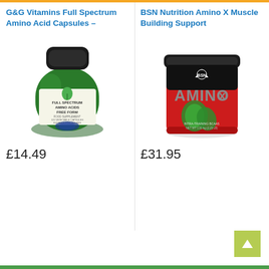G&G Vitamins Full Spectrum Amino Acid Capsules –
[Figure (photo): Green glass supplement bottle labeled 'Full Spectrum Amino Acids Free Form' by G&G Vitamins, with a black lid and a leaf logo on the label]
£14.49
BSN Nutrition Amino X Muscle Building Support
[Figure (photo): Red tub of BSN Amino X protein supplement with large white 'AMINOx' text and a goat logo, with green watermelon imagery]
£31.95